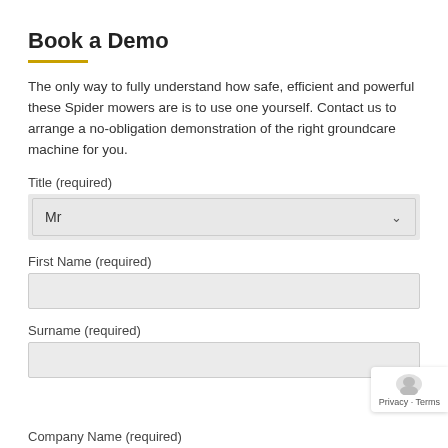Book a Demo
The only way to fully understand how safe, efficient and powerful these Spider mowers are is to use one yourself. Contact us to arrange a no-obligation demonstration of the right groundcare machine for you.
Title (required)
Mr
First Name (required)
Surname (required)
Company Name (required)